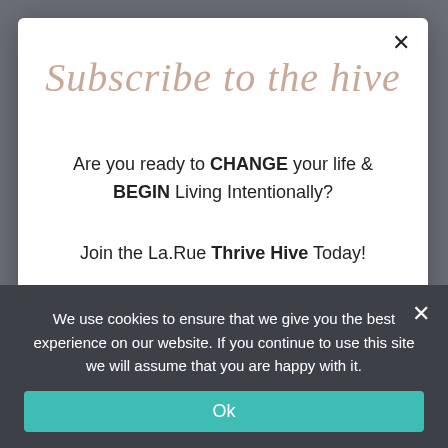Subscribe to the hive
Are you ready to CHANGE your life & BEGIN Living Intentionally?
Join the La.Rue Thrive Hive Today!
First name
Last name
We use cookies to ensure that we give you the best experience on our website. If you continue to use this site we will assume that you are happy with it.
Ok